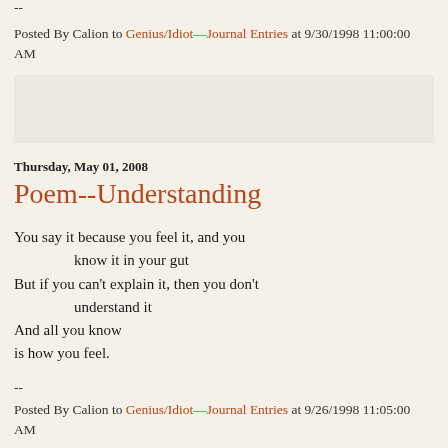--
Posted By Calion to Genius/Idiot—Journal Entries at 9/30/1998 11:00:00 AM
[Figure (other): Light beige/gray advertisement banner placeholder box]
Thursday, May 01, 2008
Poem--Understanding
You say it because you feel it, and you
        know it in your gut
But if you can't explain it, then you don't
        understand it
And all you know
is how you feel.
--
Posted By Calion to Genius/Idiot—Journal Entries at 9/26/1998 11:05:00 AM